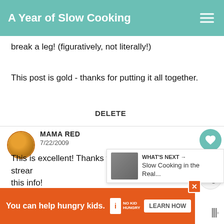A Year of Slow Cooking
break a leg! (figuratively, not literally!)
This post is gold - thanks for putting it all together.
DELETE
MAMA RED
7/22/2009
This is excellent! Thanks for streamlining this info!
WHAT'S NEXT → Slow Cooking in the Real...
You can help hungry kids. NO KID HUNGRY LEARN HOW